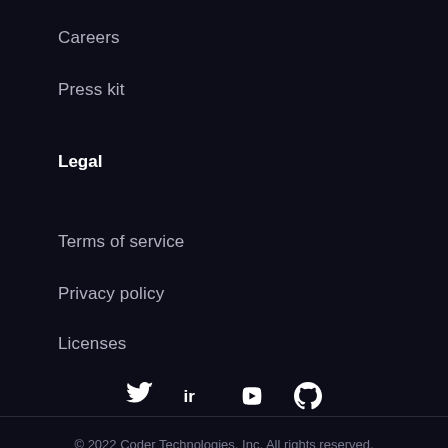Careers
Press kit
Legal
Terms of service
Privacy policy
Licenses
[Figure (infographic): Social media icons: Twitter, LinkedIn (ir), YouTube, GitHub]
© 2022 Coder Technologies, Inc. All rights reserved.